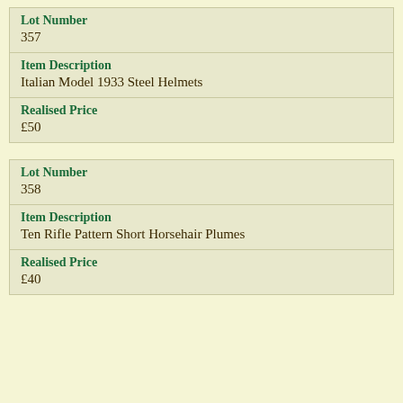| Field | Value |
| --- | --- |
| Lot Number | 357 |
| Item Description | Italian Model 1933 Steel Helmets |
| Realised Price | £50 |
| Field | Value |
| --- | --- |
| Lot Number | 358 |
| Item Description | Ten Rifle Pattern Short Horsehair Plumes |
| Realised Price | £40 |